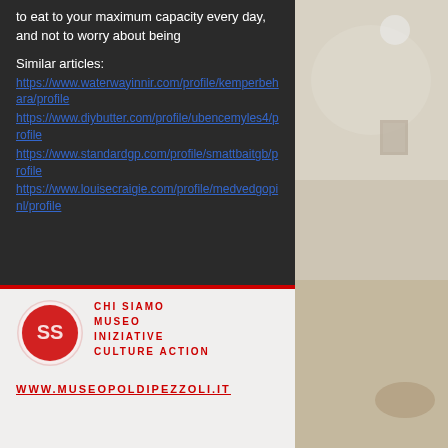to eat to your maximum capacity every day, and not to worry about being
Similar articles:
https://www.waterwayinnir.com/profile/kemperbehara/profile
https://www.diybutter.com/profile/ubencemyles4/profile
https://www.standardgp.com/profile/smattbaitgb/profile
https://www.louisecraigie.com/profile/medvedgopinl/profile
[Figure (logo): Museo Poldi Pezzoli circular red logo with stylized SS letters]
CHI SIAMO
MUSEO
INIZIATIVE
CULTURE ACTION
WWW.MUSEOPOLDIPEZZOLI.IT
[Figure (photo): Blurred museum interior with white walls and artwork]